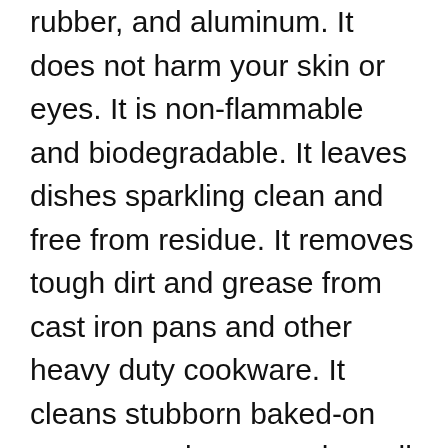rubber, and aluminum. It does not harm your skin or eyes. It is non-flammable and biodegradable. It leaves dishes sparkling clean and free from residue. It removes tough dirt and grease from cast iron pans and other heavy duty cookware. It cleans stubborn baked-on messes and even works well on greasy fingerprints. It is gentle enough to use around children and pets. To clean cast iron, first wash the pan thoroughly with hot, soapy water. Then rinse the pan under running water until the water runs clear. Dry the pan completely. Apply a thin layer of Dawn Dish Soap to the surface of the pan. Rub the soap into the pan using a soft cloth. Rinse the pan again under running water until the soap runs clear. Repeat these steps two times. After the last rinsing, wipe the pan dry with a paper towel. Do not rub the pan with a cloth or